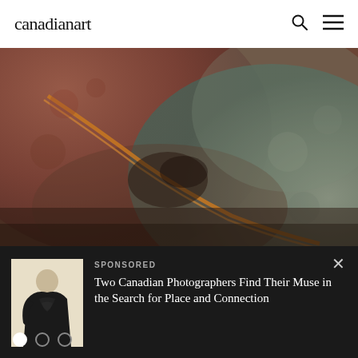canadianart
[Figure (photo): Aerial/close-up photograph showing abstract landscape with earthy red-brown tones on the left and grey-green textured surface on the right, divided by a diagonal orange-gold line or ridge. Resembles a geological or natural aerial view.]
[Figure (photo): Thumbnail image of a person in a dark dress with a tattooed or patterned back, posed against a light background.]
SPONSORED
Two Canadian Photographers Find Their Muse in the Search for Place and Connection